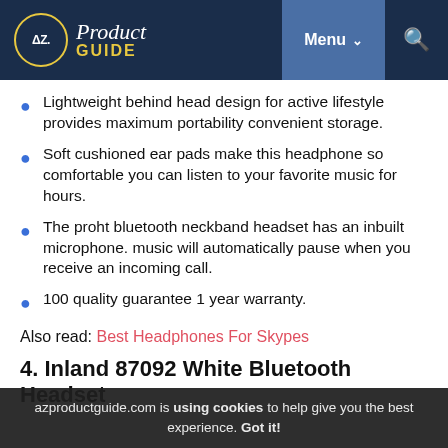AZ Product Guide | Menu | Search
Lightweight behind head design for active lifestyle provides maximum portability convenient storage.
Soft cushioned ear pads make this headphone so comfortable you can listen to your favorite music for hours.
The proht bluetooth neckband headset has an inbuilt microphone. music will automatically pause when you receive an incoming call.
100 quality guarantee 1 year warranty.
Also read: Best Headphones For Skypes
4. Inland 87092 White Bluetooth Headset
azproductguide.com is using cookies to help give you the best experience. Got it!